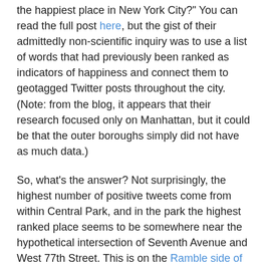the happiest place in New York City?" You can read the full post here, but the gist of their admittedly non-scientific inquiry was to use a list of words that had previously been ranked as indicators of happiness and connect them to geotagged Twitter posts throughout the city. (Note: from the blog, it appears that their research focused only on Manhattan, but it could be that the outer boroughs simply did not have as much data.)
So, what's the answer? Not surprisingly, the highest number of positive tweets come from within Central Park, and in the park the highest ranked place seems to be somewhere near the hypothetical intersection of Seventh Avenue and West 77th Street. This is on the Ramble side of the lake and is full of serene and picturesque spots. Nearby highlights include the Ramble Stone Arch (pictured above) and the recently rebuilt Oak Bridge.
What's your happiest place in the city? Let us know and maybe we can include it in a future post.